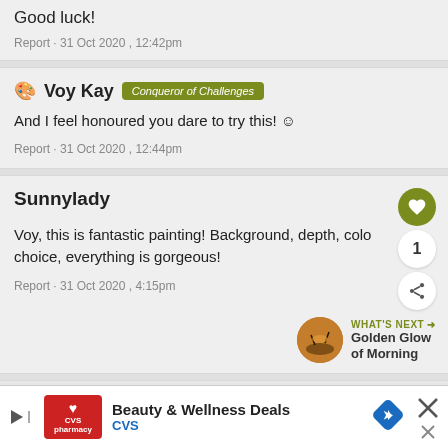Good luck!
Report · 31 Oct 2020 , 12:42pm
🎨 Voy Kay  Conqueror of Challenges
And I feel honoured you dare to try this! ☺
Report · 31 Oct 2020 , 12:44pm
Sunnylady
Voy, this is fantastic painting! Background, depth, color choice, everything is gorgeous!
Report · 31 Oct 2020 , 4:15pm
WHAT'S NEXT → Golden Glow of Morning
🎨 Voy Kay  Conqueror of Challenges
[Figure (infographic): CVS Beauty & Wellness Deals advertisement banner with CVS pharmacy logo, navigation arrow icon, and close button]
Beauty & Wellness Deals  CVS